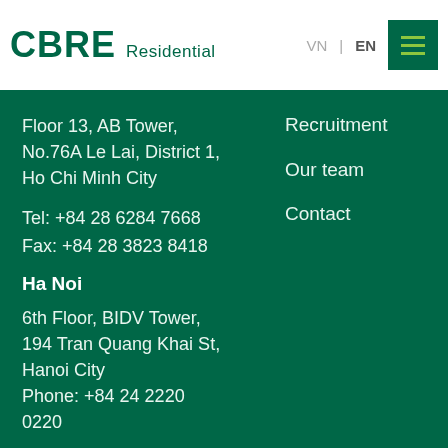CBRE Residential | VN | EN
Floor 13, AB Tower,
No.76A Le Lai, District 1,
Ho Chi Minh City

Tel: +84 28 6284 7668
Fax: +84 28 3823 8418
Recruitment

Our team

Contact
Ha Noi
6th Floor, BIDV Tower,
194 Tran Quang Khai St,
Hanoi City
Phone: +84 24 2220 0220